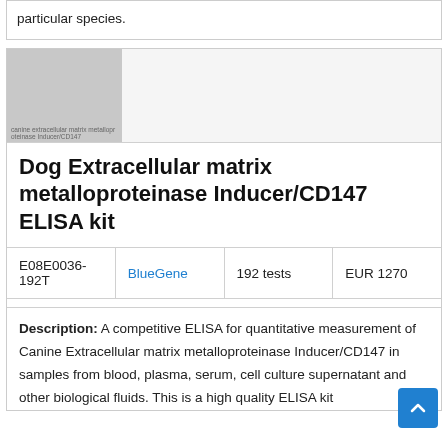particular species.
[Figure (photo): Product image placeholder (gray rectangle) for Dog Extracellular matrix metalloproteinase Inducer/CD147 ELISA kit]
Dog Extracellular matrix metalloproteinase Inducer/CD147 ELISA kit
| E08E0036-192T | BlueGene | 192 tests | EUR 1270 |
| --- | --- | --- | --- |
Description: A competitive ELISA for quantitative measurement of Canine Extracellular matrix metalloproteinase Inducer/CD147 in samples from blood, plasma, serum, cell culture supernatant and other biological fluids. This is a high quality ELISA kit